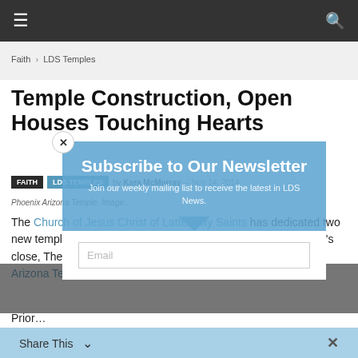≡  🔍
Faith › LDS Temples
Temple Construction, Open Houses Touching Hearts
Faith | LDS Temples  by Kara McMurray  –  Nov 14, 2014
Phoenix Arizona Temple. Image…
The Church of Jesus Christ of Latter-day Saints has dedicated two new temples and rededicated another this year. Before the year's close, The Church will dedicate one more temple, the Phoenix Arizona Temple, on Sunday, November 16.
[Figure (other): Subscribe to Our Newsletter popup overlay with email input field. Text: 'Join our weekly mailing list to receive the latest in LDS News.' Email input box visible.]
Prior…
Share This  ˅  ✕